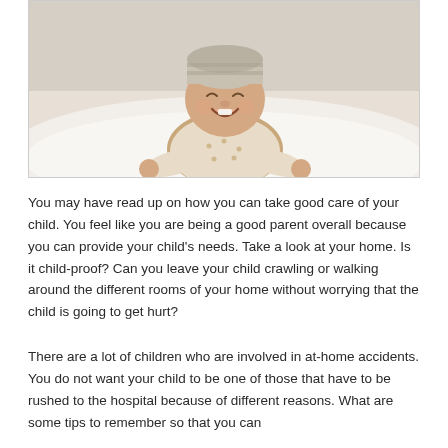[Figure (photo): A smiling baby in a patterned onesie lying on a fluffy white rug, looking upward happily]
You may have read up on how you can take good care of your child. You feel like you are being a good parent overall because you can provide your child's needs. Take a look at your home. Is it child-proof? Can you leave your child crawling or walking around the different rooms of your home without worrying that the child is going to get hurt?
There are a lot of children who are involved in at-home accidents. You do not want your child to be one of those that have to be rushed to the hospital because of different reasons. What are some tips to remember so that you can